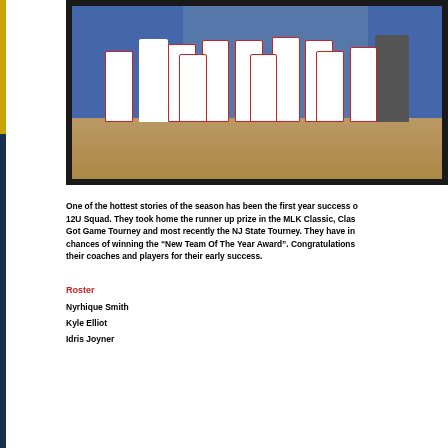[Figure (photo): Group photo of a youth basketball team (12U Squad) wearing white uniforms with red trim and numbers including 5, 10, 4, 2, 24, 23. Two coaches stand at either end. Team posed in front of a blue gymnasium wall.]
One of the hottest stories of the season has been the first year success of the 12U Squad. They took home the runner up prize in the MLK Classic, Classic Got Game Tourney and most recently the NJ State Tourney. They have increased chances of winning the “New Team Of The Year Award”. Congratulations to their coaches and players for their early success.
Roster
Nyrhique Smith
Kyle Elliot
Idris Joyner